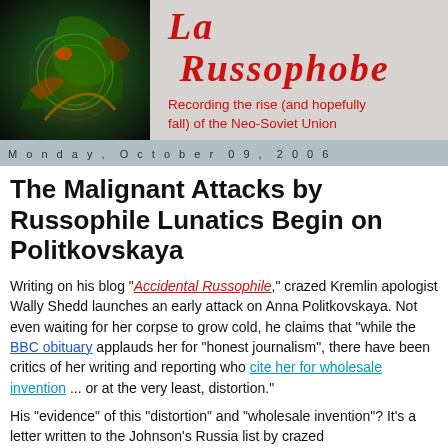[Figure (illustration): Blog header banner with fantasy/dragon illustration on left and red cursive 'La Russophobe' title with red subtitle text on gray background]
Monday, October 09, 2006
The Malignant Attacks by Russophile Lunatics Begin on Politkovskaya
Writing on his blog "Accidental Russophile," crazed Kremlin apologist Wally Shedd launches an early attack on Anna Politkovskaya. Not even waiting for her corpse to grow cold, he claims that "while the BBC obituary applauds her for "honest journalism", there have been critics of her writing and reporting who cite her for wholesale invention ... or at the very least, distortion."
His "evidence" of this "distortion" and "wholesale invention"? It's a letter written to the Johnson's Russia list by crazed